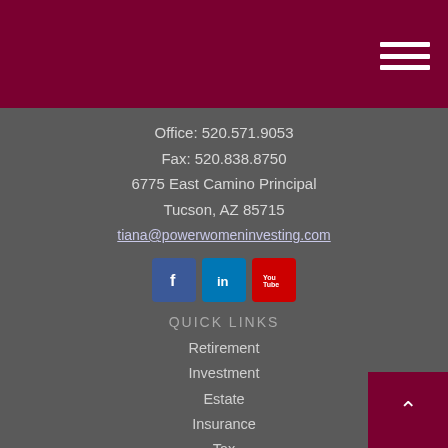Office: 520.571.9053
Fax: 520.838.8750
6775 East Camino Principal
Tucson, AZ 85715
tiana@powerwomeninvesting.com
[Figure (other): Social media icons: Facebook, LinkedIn, YouTube]
Quick Links
Retirement
Investment
Estate
Insurance
Tax
Money
Lifestyle
All Articles